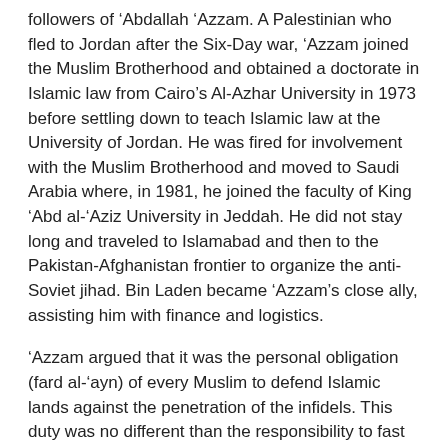followers of 'Abdallah 'Azzam. A Palestinian who fled to Jordan after the Six-Day war, 'Azzam joined the Muslim Brotherhood and obtained a doctorate in Islamic law from Cairo's Al-Azhar University in 1973 before settling down to teach Islamic law at the University of Jordan. He was fired for involvement with the Muslim Brotherhood and moved to Saudi Arabia where, in 1981, he joined the faculty of King 'Abd al-'Aziz University in Jeddah. He did not stay long and traveled to Islamabad and then to the Pakistan-Afghanistan frontier to organize the anti-Soviet jihad. Bin Laden became 'Azzam's close ally, assisting him with finance and logistics.
'Azzam argued that it was the personal obligation (fard al-'ayn) of every Muslim to defend Islamic lands against the penetration of the infidels. This duty was no different than the responsibility to fast or pray. A son neither would need his father's approval nor a wife her husband's approval to fulfill it.[10] Primary responsibility for the fight against occupation of the infidels rested upon the victimized residents but, if they did not possess force enough to resist, every Muslim should join them in battle.[11] Waging war against Soviet-occupied Afghanistan and Israel were the highest priorities because